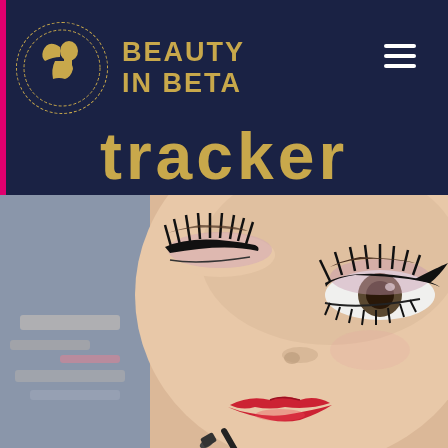Beauty In Beta
tracker
[Figure (photo): Close-up photo of a woman's face having makeup applied — dramatic black eyeliner and lashes on both eyes, pink eyeshadow, red lipstick being applied with a brush.]